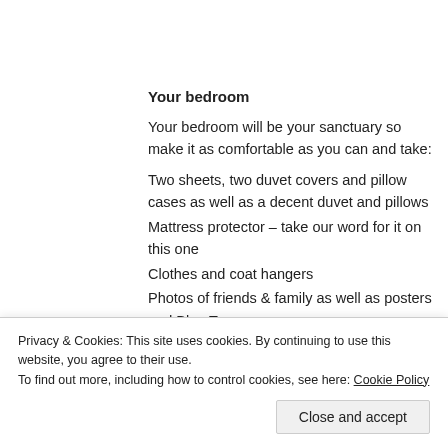Your bedroom
Your bedroom will be your sanctuary so make it as comfortable as you can and take:
Two sheets, two duvet covers and pillow cases as well as a decent duvet and pillows
Mattress protector – take our word for it on this one
Clothes and coat hangers
Photos of friends & family as well as posters and Blue Tac
A lamp and lampshade
Privacy & Cookies: This site uses cookies. By continuing to use this website, you agree to their use. To find out more, including how to control cookies, see here: Cookie Policy
Close and accept